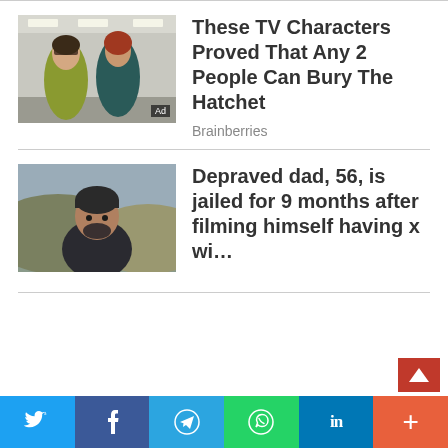[Figure (photo): Two women standing in a corridor, one in a yellow-green blouse, one in a dark teal top. Ad badge visible bottom-right.]
These TV Characters Proved That Any 2 People Can Bury The Hatchet
Brainberries
[Figure (photo): Man with a dark beanie and beard wearing a dark jacket, outdoors with hills behind him.]
Depraved dad, 56, is jailed for 9 months after filming himself having x wi…